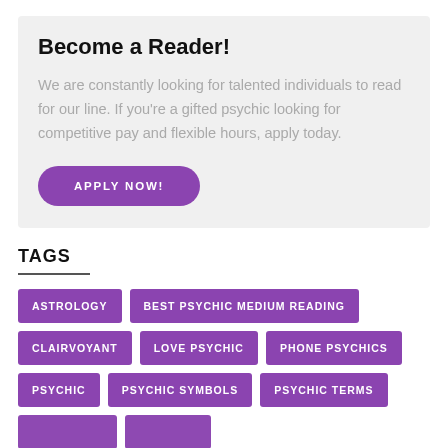Become a Reader!
We are constantly looking for talented individuals to read for our line. If you're a gifted psychic looking for competitive pay and flexible hours, apply today.
APPLY NOW!
TAGS
ASTROLOGY
BEST PSYCHIC MEDIUM READING
CLAIRVOYANT
LOVE PSYCHIC
PHONE PSYCHICS
PSYCHIC
PSYCHIC SYMBOLS
PSYCHIC TERMS